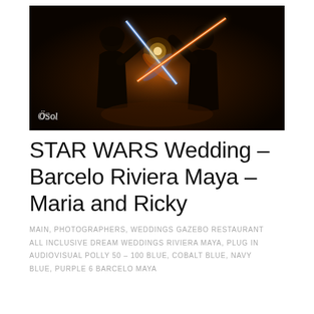[Figure (photo): Dark atmospheric photo of two silhouetted people facing each other holding crossed lightsabers — one blue and one red/orange — glowing brightly against a dark smoky background. A watermark logo 'OSol' appears in the bottom left corner.]
STAR WARS Wedding – Barcelo Riviera Maya – Maria and Ricky
MAIN, PHOTOGRAPHERS, WEDDINGS GAZEBO RESTAURANT ALL INCLUSIVE DREAM WEDDINGS RIVIERA MAYA, PLUG IN AUDIOVISUAL POLLY 50 – 100 BLUE, COBALT BLUE, NAVY BLUE, PURPLE 6 BARCELO MAYA